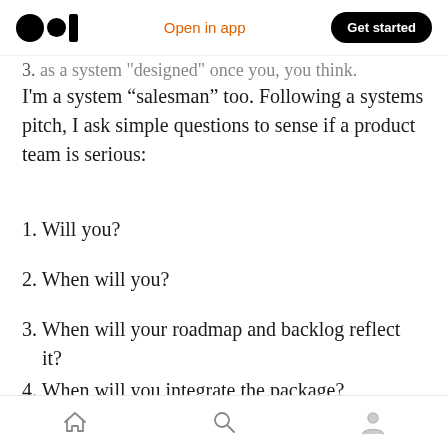Medium app header: logo, Open in app, Get started
I'm a system “salesman” too. Following a systems pitch, I ask simple questions to sense if a product team is serious:
1. Will you?
2. When will you?
3. When will your roadmap and backlog reflect it?
4. When will you integrate the package?
5. When will you have “Hello System!” progress
Home, Search, Profile navigation icons